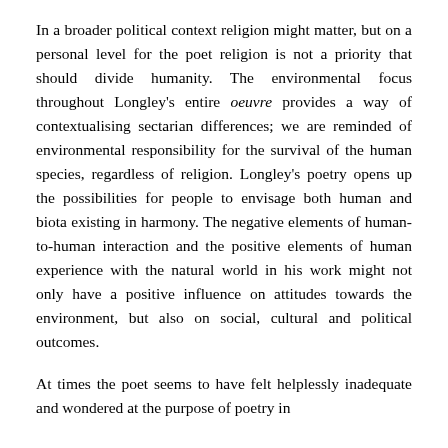In a broader political context religion might matter, but on a personal level for the poet religion is not a priority that should divide humanity. The environmental focus throughout Longley's entire oeuvre provides a way of contextualising sectarian differences; we are reminded of environmental responsibility for the survival of the human species, regardless of religion. Longley's poetry opens up the possibilities for people to envisage both human and biota existing in harmony. The negative elements of human-to-human interaction and the positive elements of human experience with the natural world in his work might not only have a positive influence on attitudes towards the environment, but also on social, cultural and political outcomes.
At times the poet seems to have felt helplessly inadequate and wondered at the purpose of poetry in a broader political climate. Kiberd in Literature and...